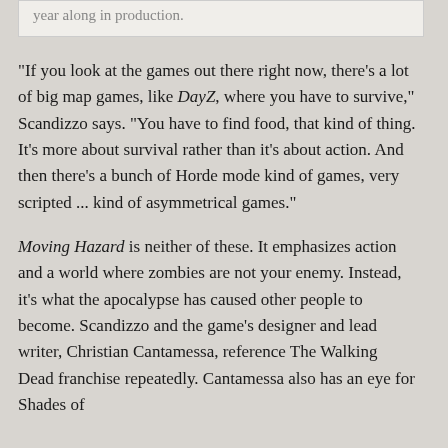year along in production.
"If you look at the games out there right now, there's a lot of big map games, like DayZ, where you have to survive," Scandizzo says. "You have to find food, that kind of thing. It's more about survival rather than it's about action. And then there's a bunch of Horde mode kind of games, very scripted ... kind of asymmetrical games."
Moving Hazard is neither of these. It emphasizes action and a world where zombies are not your enemy. Instead, it’s what the apocalypse has caused other people to become. Scandizzo and the game’s designer and lead writer, Christian Cantamessa, reference The Walking Dead franchise repeatedly. Cantamessa also has an eye for Shades of...